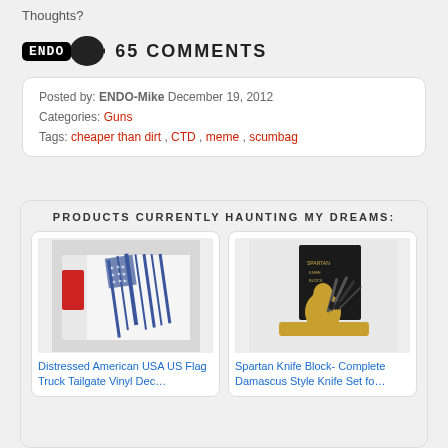Thoughts?
65 COMMENTS
Posted by: ENDO-Mike December 19, 2012
Categories: Guns
Tags: cheaper than dirt , CTD , meme , scumbag
PRODUCTS CURRENTLY HAUNTING MY DREAMS:
[Figure (photo): Distressed American USA US Flag Truck Tailgate Vinyl Decal product photo]
Distressed American USA US Flag Truck Tailgate Vinyl Dec....
[Figure (photo): Spartan Knife Block Complete Damascus Style Knife Set product photo]
Spartan Knife Block- Complete Damascus Style Knife Set fo...